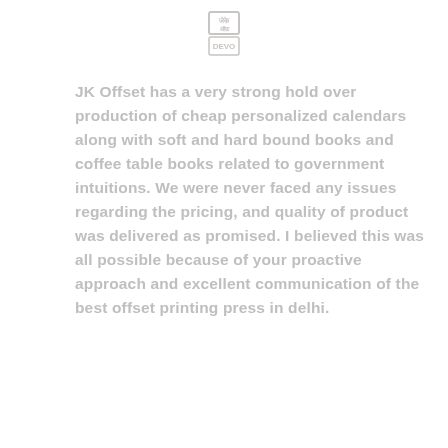[Figure (logo): JK Offset logo mark at top center of page — stylized text/symbol in light gray]
JK Offset has a very strong hold over production of cheap personalized calendars along with soft and hard bound books and coffee table books related to government intuitions. We were never faced any issues regarding the pricing, and quality of product was delivered as promised. I believed this was all possible because of your proactive approach and excellent communication of the best offset printing press in delhi.